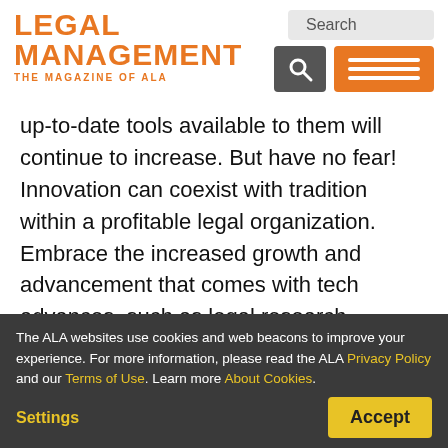LEGAL MANAGEMENT — THE MAGAZINE OF ALA
up-to-date tools available to them will continue to increase. But have no fear! Innovation can coexist with tradition within a profitable legal organization. Embrace the increased growth and advancement that comes with tech advances, such as legal research, document review and legal billing so your organization can embrace what makes lawyers
The ALA websites use cookies and web beacons to improve your experience. For more information, please read the ALA Privacy Policy and our Terms of Use. Learn more About Cookies.
Settings  Accept